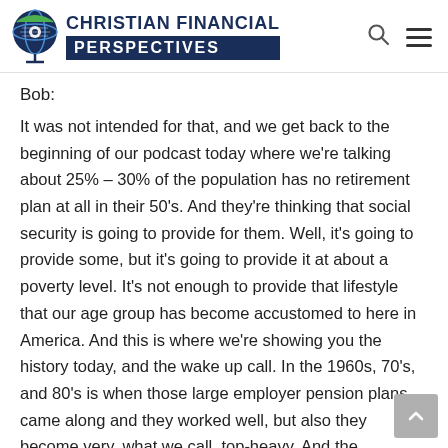CHRISTIAN FINANCIAL PERSPECTIVES
Bob:
It was not intended for that, and we get back to the beginning of our podcast today where we're talking about 25% – 30% of the population has no retirement plan at all in their 50's. And they're thinking that social security is going to provide for them. Well, it's going to provide some, but it's going to provide it at about a poverty level. It's not enough to provide that lifestyle that our age group has become accustomed to here in America. And this is where we're showing you the history today, and the wake up call. In the 1960s, 70's, and 80's is when those large employer pension plans came along and they worked well, but also they become very, what we call, top-heavy. And the companies saw this. You remember the major automobile company? We can't say the name of